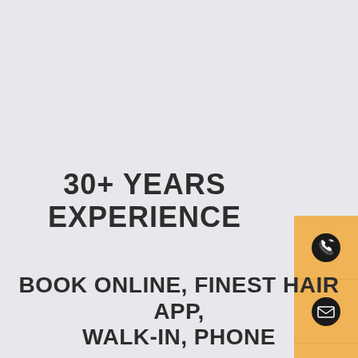30+ YEARS EXPERIENCE
[Figure (infographic): Vertical sidebar on the right edge with amber/golden background containing four social/contact icons in black circles: phone, email/envelope, Instagram, Facebook]
BOOK ONLINE, FINEST HAIR APP, WALK-IN, PHONE